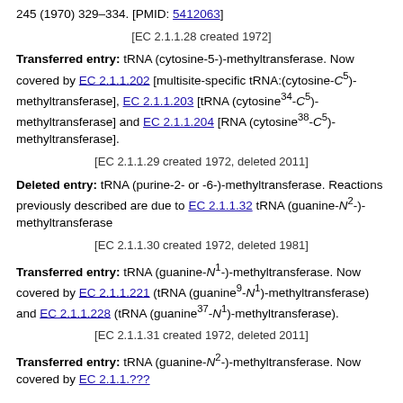245 (1970) 329–334. [PMID: 5412063]
[EC 2.1.1.28 created 1972]
Transferred entry: tRNA (cytosine-5-)-methyltransferase. Now covered by EC 2.1.1.202 [multisite-specific tRNA:(cytosine-C5)-methyltransferase], EC 2.1.1.203 [tRNA (cytosine34-C5)-methyltransferase] and EC 2.1.1.204 [RNA (cytosine38-C5)-methyltransferase].
[EC 2.1.1.29 created 1972, deleted 2011]
Deleted entry: tRNA (purine-2- or -6-)-methyltransferase. Reactions previously described are due to EC 2.1.1.32 tRNA (guanine-N2-)-methyltransferase
[EC 2.1.1.30 created 1972, deleted 1981]
Transferred entry: tRNA (guanine-N1-)-methyltransferase. Now covered by EC 2.1.1.221 (tRNA (guanine9-N1)-methyltransferase) and EC 2.1.1.228 (tRNA (guanine37-N1)-methyltransferase).
[EC 2.1.1.31 created 1972, deleted 2011]
Transferred entry: tRNA (guanine-N2-)-methyltransferase. Now covered by EC 2.1.1.???